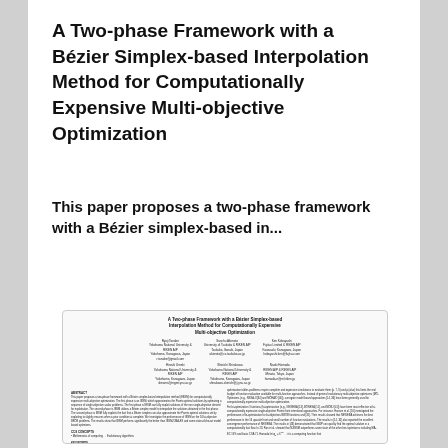A Two-phase Framework with a Bézier Simplex-based Interpolation Method for Computationally Expensive Multi-objective Optimization
This paper proposes a two-phase framework with a Bézier simplex-based in...
[Figure (other): Thumbnail preview of the full paper showing title, authors, abstract, CCS concepts, and keywords sections in miniature.]